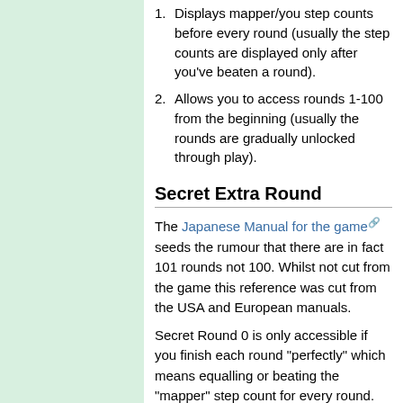1. Displays mapper/you step counts before every round (usually the step counts are displayed only after you've beaten a round).
2. Allows you to access rounds 1-100 from the beginning (usually the rounds are gradually unlocked through play).
Secret Extra Round
The Japanese Manual for the game seeds the rumour that there are in fact 101 rounds not 100. Whilst not cut from the game this reference was cut from the USA and European manuals.
Secret Round 0 is only accessible if you finish each round "perfectly" which means equalling or beating the "mapper" step count for every round. The hint for